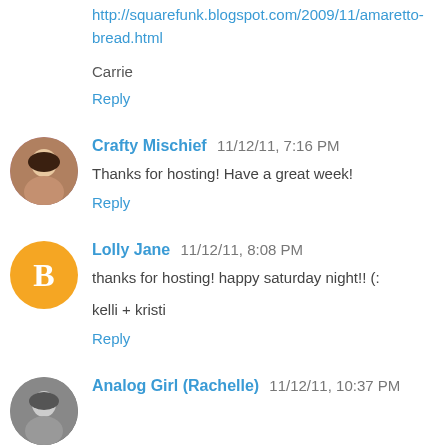http://squarefunk.blogspot.com/2009/11/amaretto-bread.html
Carrie
Reply
[Figure (photo): Avatar photo of Crafty Mischief commenter]
Crafty Mischief 11/12/11, 7:16 PM
Thanks for hosting! Have a great week!
Reply
[Figure (logo): Orange Blogger B logo avatar for Lolly Jane]
Lolly Jane 11/12/11, 8:08 PM
thanks for hosting! happy saturday night!! (:
kelli + kristi
Reply
[Figure (photo): Avatar photo of Analog Girl (Rachelle) commenter]
Analog Girl (Rachelle) 11/12/11, 10:37 PM